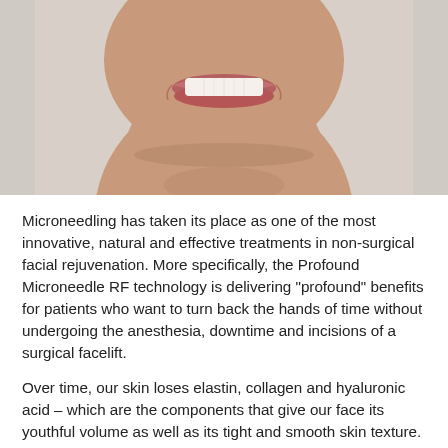[Figure (photo): Close-up photo of a smiling woman's lower face and neck showing teeth, lips, chin and neck against a light gray background. Only the lower portion of the face is visible.]
Microneedling has taken its place as one of the most innovative, natural and effective treatments in non-surgical facial rejuvenation. More specifically, the Profound Microneedle RF technology is delivering "profound" benefits for patients who want to turn back the hands of time without undergoing the anesthesia, downtime and incisions of a surgical facelift.
Over time, our skin loses elastin, collagen and hyaluronic acid – which are the components that give our face its youthful volume as well as its tight and smooth skin texture. When these are lost, the result can be unsightly sagging and wrinkles around the eyes, nose, cheeks and mouth. Profound microneedling is clinically proven to...